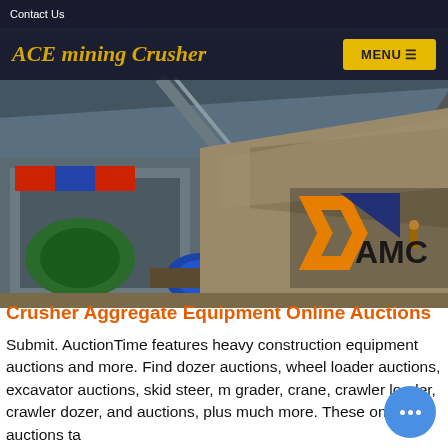Contact Us
ACE mining Crusher
[Figure (photo): Mining conveyor belt and crushing equipment at an industrial mining site with AMC logo visible in the lower right]
Crusher Aggregate Equipment Online Auctions
Submit. AuctionTime features heavy construction equipment auctions and more. Find dozer auctions, wheel loader auctions, excavator auctions, skid steer, m grader, crane, crawler loader, crawler dozer, and auctions, plus much more. These online auctions ta